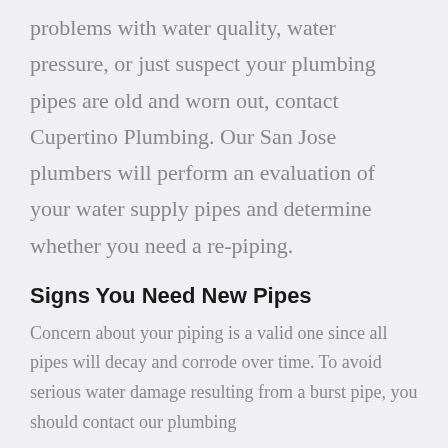problems with water quality, water pressure, or just suspect your plumbing pipes are old and worn out, contact Cupertino Plumbing. Our San Jose plumbers will perform an evaluation of your water supply pipes and determine whether you need a re-piping.
Signs You Need New Pipes
Concern about your piping is a valid one since all pipes will decay and corrode over time. To avoid serious water damage resulting from a burst pipe, you should contact our plumbing